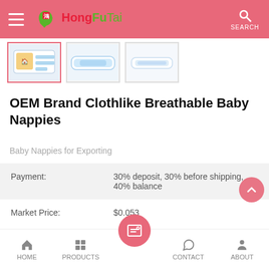HongFuTai — SEARCH
[Figure (photo): Three product thumbnail images of baby nappies/diapers]
OEM Brand Clothlike Breathable Baby Nappies
Baby Nappies for Exporting
| Payment: | 30% deposit, 30% before shipping, 40% balance |
| Market Price: | $0.053 |
HOME  PRODUCTS  CONTACT  ABOUT